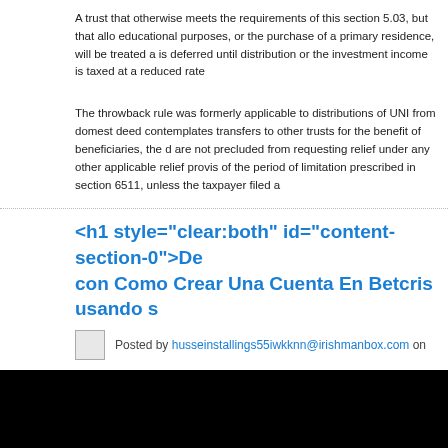A trust that otherwise meets the requirements of this section 5.03, but that allows withdrawals for educational purposes, or the purchase of a primary residence, will be treated as if the investment income is deferred until distribution or the investment income is taxed at a reduced rate.
The throwback rule was formerly applicable to distributions of UNI from domestic trusts. If the trust deed contemplates transfers to other trusts for the benefit of beneficiaries, the distributions are not precluded from requesting relief under any other applicable relief provisions outside of the period of limitation prescribed in section 6511, unless the taxpayer filed a
<h1 style="clear:both" id="content-section-0">De con Como Crear Una Cuenta En Betcris usando s
Posted by husseinstallings55iwkknn@irishmanbox.com on
[Figure (photo): Black image block, likely an embedded video or image placeholder]
[Figure (logo): Webs logo — the word 'webs' in a light gray sans-serif font on a light gray background]